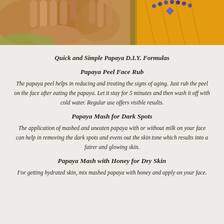[Figure (photo): Partial photo of a person with hands raised showing palms, wearing yellow/orange fabric and beaded necklace, cropped to show torso and hands]
Quick and Simple Papaya D.I.Y. Formulas
Papaya Peel Face Rub
The papaya peel helps in reducing and treating the signs of aging. Just rub the peel on the face after eating the papaya. Let it stay for 5 minutes and then wash it off with cold water. Regular use offers visible results.
Papaya Mash for Dark Spots
The application of mashed and uneaten papaya with or without milk on your face can help in removing the dark spots and evens out the skin tone which results into a fairer and glowing skin.
Papaya Mash with Honey for Dry Skin
For getting hydrated skin, mix mashed papaya with honey and apply on your face.